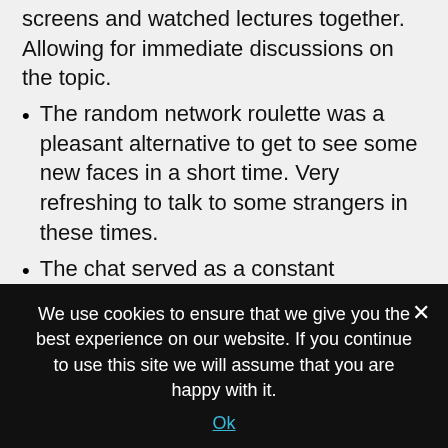screens and watched lectures together. Allowing for immediate discussions on the topic.
The random network roulette was a pleasant alternative to get to see some new faces in a short time. Very refreshing to talk to some strangers in these times.
The chat served as a constant interaction enabler. It allowed participants to ask questions when they arise – without disrupting the flow of the presenter. Moreover, sometimes relevant discussions between participants were taking place
We use cookies to ensure that we give you the best experience on our website. If you continue to use this site we will assume that you are happy with it.
Ok